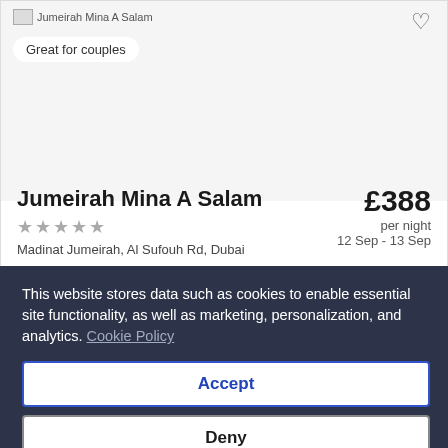[Figure (photo): Hotel listing card showing Jumeirah Mina A Salam hotel with image placeholder, 'Great for couples' badge, heart/favourite icon, hotel name, 5-star rating, location, and price per night]
Jumeirah Mina A Salam
★★★★★
Madinat Jumeirah, Al Sufouh Rd, Dubai
£388 per night 12 Sep - 13 Sep
This website stores data such as cookies to enable essential site functionality, as well as marketing, personalization, and analytics. Cookie Policy
Accept
Deny